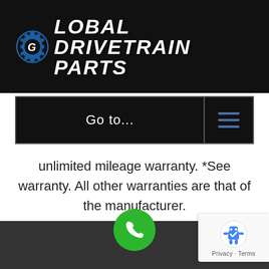[Figure (logo): Global Drivetrain Parts logo with gear icon and white italic bold text on dark background]
Go to...
unlimited mileage warranty. *See warranty. All other warranties are that of the manufacturer.
[Figure (other): Green circular phone/call button at bottom center]
[Figure (other): reCAPTCHA widget showing robot icon with Privacy and Terms links]